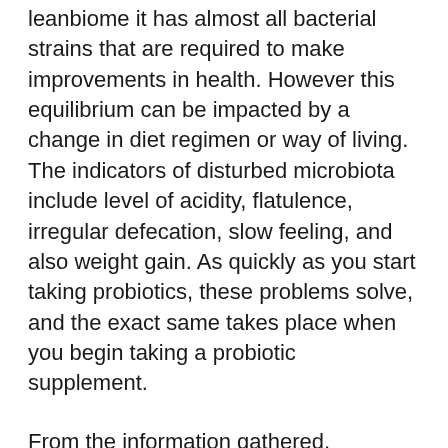leanbiome it has almost all bacterial strains that are required to make improvements in health. However this equilibrium can be impacted by a change in diet regimen or way of living. The indicators of disturbed microbiota include level of acidity, flatulence, irregular defecation, slow feeling, and also weight gain. As quickly as you start taking probiotics, these problems solve, and the exact same takes place when you begin taking a probiotic supplement.
From the information gathered, LeanBiome can easily be called as one of the top probiotic supplements nowadays, as well as there are plenty of reasons to trust this product. According to the official site, it regulates brain as well as body coordination and manages the psychological and